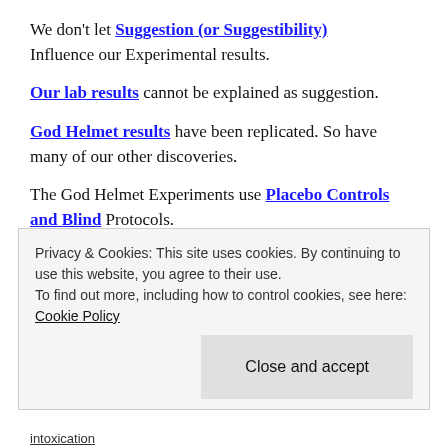We don't let Suggestion (or Suggestibility) Influence our Experimental results.
Our lab results cannot be explained as suggestion.
God Helmet results have been replicated. So have many of our other discoveries.
The God Helmet Experiments use Placebo Controls and Blind Protocols.
Replications of our work on Paranormal Phenomena
Privacy & Cookies: This site uses cookies. By continuing to use this website, you agree to their use. To find out more, including how to control cookies, see here: Cookie Policy
Close and accept
intoxication